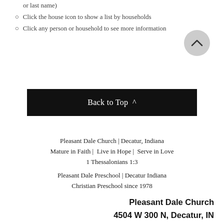or last name)
Click the house icon to show a list by households
Click any person or household to see more information
Back to Top ^
Pleasant Dale Church | Decatur, Indiana
Mature in Faith | Live in Hope | Serve in Love
1 Thessalonians 1:3
Pleasant Dale Preschool | Decatur Indiana
Christian Preschool since 1978
Pleasant Dale Church
4504 W 300 N, Decatur, IN